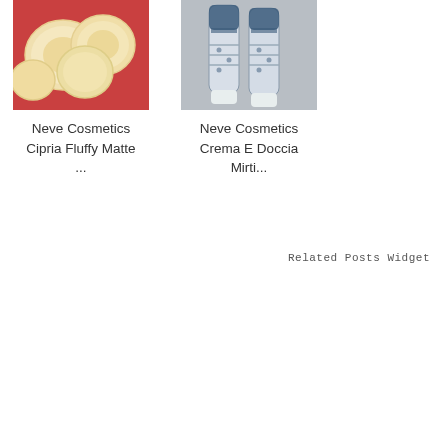[Figure (photo): Photo of Neve Cosmetics Cipria Fluffy Matte powder compacts on a red background]
Neve Cosmetics Cipria Fluffy Matte ...
[Figure (photo): Photo of Neve Cosmetics Crema E Doccia Mirti... cream tubes on a gray background]
Neve Cosmetics Crema E Doccia Mirti...
Related Posts Widget